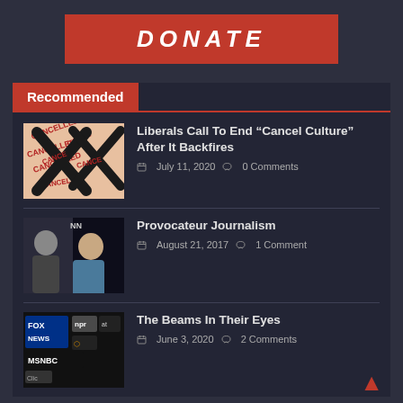[Figure (other): Red DONATE button on dark background]
Recommended
[Figure (illustration): Cancel culture image with black X marks and 'CANCELLED' text stamps on peach background]
Liberals Call To End “Cancel Culture” After It Backfires
July 11, 2020   0 Comments
[Figure (photo): Two people on news set, man in suit and woman in blue top, dark background]
Provocateur Journalism
August 21, 2017   1 Comment
[Figure (screenshot): Media logos: FOX NEWS, NPR, NBC (at), MSNBC on dark background]
The Beams In Their Eyes
June 3, 2020   2 Comments